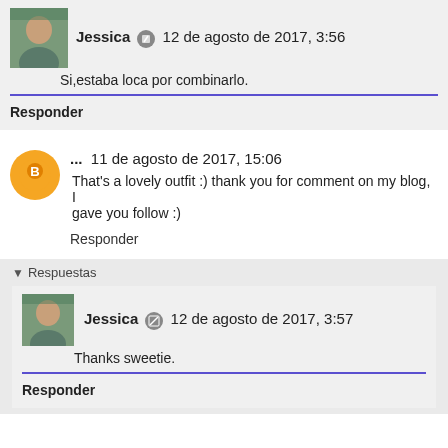Jessica 12 de agosto de 2017, 3:56
Si,estaba loca por combinarlo.
Responder
... 11 de agosto de 2017, 15:06
That's a lovely outfit :) thank you for comment on my blog, I gave you follow :)
Responder
Respuestas
Jessica 12 de agosto de 2017, 3:57
Thanks sweetie.
Responder